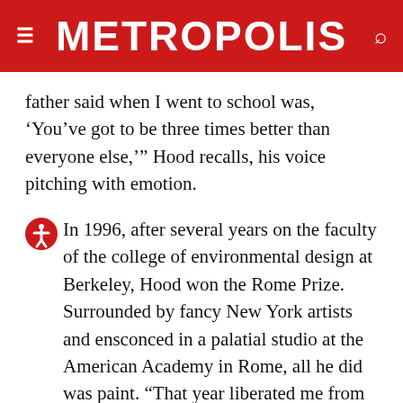METROPOLIS
father said when I went to school was, ‘You’ve got to be three times better than everyone else,’” Hood recalls, his voice pitching with emotion.
In 1996, after several years on the faculty of the college of environmental design at Berkeley, Hood won the Rome Prize. Surrounded by fancy New York artists and ensconced in a palatial studio at the American Academy in Rome, all he did was paint. “That year liberated me from the